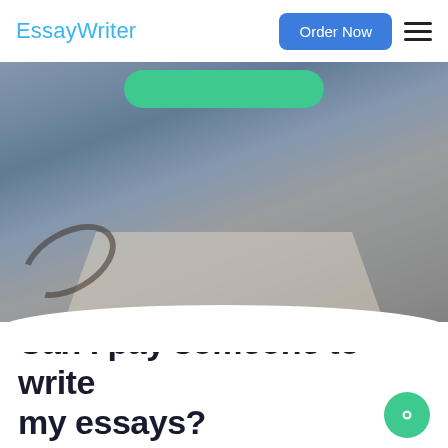EssayWriter
[Figure (photo): Blurred photo of a desk with an open book, glasses, pencil, and a person's hands in the background; bluish overlay tint. A green pill-shaped button is partially visible at the top of the image.]
Can I pay someone to write my essays?
Essaywriter is a